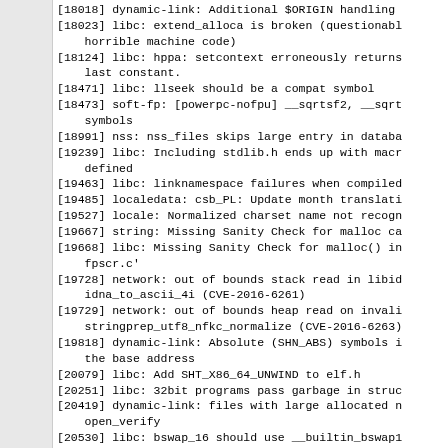[18018] dynamic-link: Additional $ORIGIN handling
[18023] libc: extend_alloca is broken (questionable horrible machine code)
[18124] libc: hppa: setcontext erroneously returns last constant.
[18471] libc: llseek should be a compat symbol
[18473] soft-fp: [powerpc-nofpu] __sqrtsf2, __sqrt symbols
[18991] nss: nss_files skips large entry in databa
[19239] libc: Including stdlib.h ends up with macr defined
[19463] libc: linknamespace failures when compiled
[19485] localedata: csb_PL: Update month translati
[19527] locale: Normalized charset name not recogn
[19667] string: Missing Sanity Check for malloc ca
[19668] libc: Missing Sanity Check for malloc() in fpscr.c'
[19728] network: out of bounds stack read in libid idna_to_ascii_4i (CVE-2016-6261)
[19729] network: out of bounds heap read on invali stringprep_utf8_nfkc_normalize (CVE-2016-6263)
[19818] dynamic-link: Absolute (SHN_ABS) symbols i the base address
[20079] libc: Add SHT_X86_64_UNWIND to elf.h
[20251] libc: 32bit programs pass garbage in struc
[20419] dynamic-link: files with large allocated n open_verify
[20530] libc: bswap_16 should use __builtin_bswap1
[20890] dynamic-link: ldconfig: fsync the files be
[20980] manual: CFLAGS environment variable replac
[21100] ...